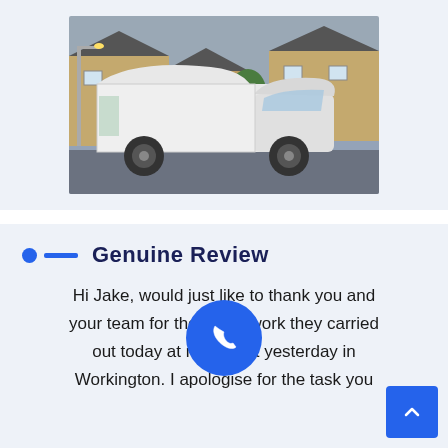[Figure (photo): A large white box van/removal truck parked on a residential street with terraced houses in the background.]
Genuine Review
Hi Jake, would just like to thank you and your team for the work they carried out today at my flat yesterday in Workington. I apologise for the task you